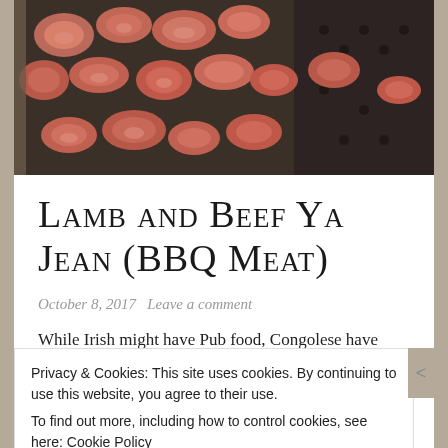[Figure (photo): Photo of grilled lamb and beef pieces on a BBQ grill/tray, viewed from above]
LAMB AND BEEF YA JEAN (BBQ MEAT)
October 8, 2017   Leave a comment
While Irish might have Pub food, Congolese have
Privacy & Cookies: This site uses cookies. By continuing to use this website, you agree to their use.
To find out more, including how to control cookies, see here: Cookie Policy